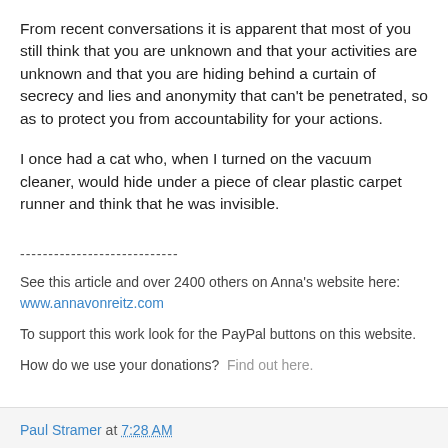From recent conversations it is apparent that most of you still think that you are unknown and that your activities are unknown and that you are hiding behind a curtain of secrecy and lies and anonymity that can't be penetrated, so as to protect you from accountability for your actions.
I once had a cat who, when I turned on the vacuum cleaner, would hide under a piece of clear plastic carpet runner and think that he was invisible.
----------------------------
See this article and over 2400 others on Anna's website here: www.annavonreitz.com
To support this work look for the PayPal buttons on this website.
How do we use your donations?  Find out here.
Paul Stramer at 7:28 AM